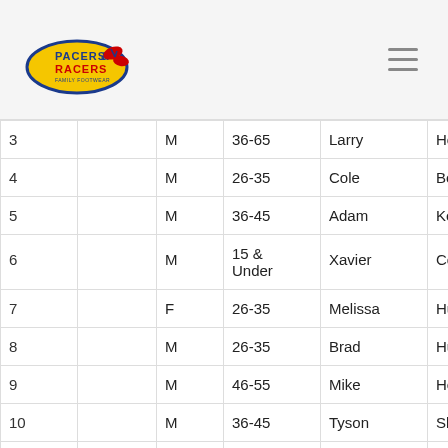Pacers & Racers logo and navigation
| # |  | Sex | Age Group | First Name | Last Name |
| --- | --- | --- | --- | --- | --- |
| 3 |  | M | 36-65 | Larry | Hoover |
| 4 |  | M | 26-35 | Cole | Belcher |
| 5 |  | M | 36-45 | Adam | Kemple |
| 6 |  | M | 15 & Under | Xavier | Coats |
| 7 |  | F | 26-35 | Melissa | Hutchins |
| 8 |  | M | 26-35 | Brad | Hutchins |
| 9 |  | M | 46-55 | Mike | Hewitt |
| 10 |  | M | 36-45 | Tyson | Skinner |